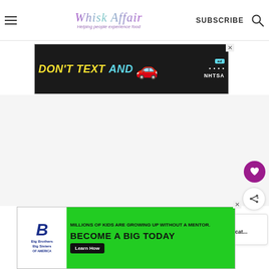Whisk Affair — Helping people experience food | SUBSCRIBE
[Figure (screenshot): NHTSA 'Don't Text and Drive' advertisement banner with yellow text, cyan AND text, red car emoji, and NHTSA logo on dark background]
[Figure (infographic): Floating heart (save) button and share button on right side of page]
[Figure (other): What's Next panel showing Starbucks Copycat recipe thumbnail and label]
[Figure (screenshot): Big Brothers Big Sisters advertisement: 'Millions of kids are growing up without a mentor. Become a Big Today' with green background and Learn How button]